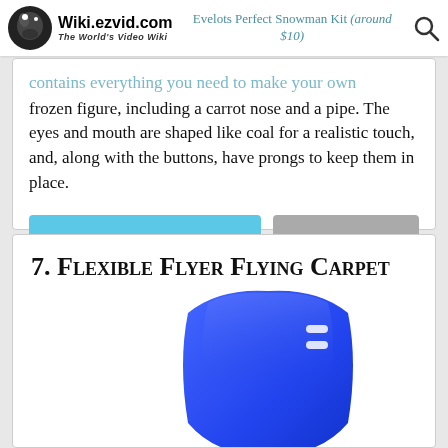Wiki.ezvid.com The World's Video Wiki | Evelots Perfect Snowman Kit (around $10)
contains everything you need to make your own frozen figure, including a carrot nose and a pipe. The eyes and mouth are shaped like coal for a realistic touch, and, along with the buttons, have prongs to keep them in place.
SEE PRICE ON AMAZON | EBAY
7. Flexible Flyer Flying Carpet
[Figure (photo): Blue flexible flyer flying carpet sled, shown from above at an angle]